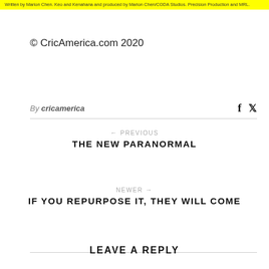Written by Marion Chen. Keo and Kenahana and produced by Marion Chen/CODA Studios. Precision Production and MRL.
© CricAmerica.com 2020
By cricamerica
← PREVIOUS
THE NEW PARANORMAL
NEWER →
IF YOU REPURPOSE IT, THEY WILL COME
LEAVE A REPLY